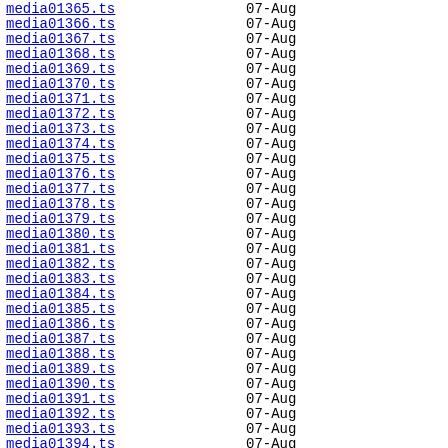media01365.ts   07-Aug
media01366.ts   07-Aug
media01367.ts   07-Aug
media01368.ts   07-Aug
media01369.ts   07-Aug
media01370.ts   07-Aug
media01371.ts   07-Aug
media01372.ts   07-Aug
media01373.ts   07-Aug
media01374.ts   07-Aug
media01375.ts   07-Aug
media01376.ts   07-Aug
media01377.ts   07-Aug
media01378.ts   07-Aug
media01379.ts   07-Aug
media01380.ts   07-Aug
media01381.ts   07-Aug
media01382.ts   07-Aug
media01383.ts   07-Aug
media01384.ts   07-Aug
media01385.ts   07-Aug
media01386.ts   07-Aug
media01387.ts   07-Aug
media01388.ts   07-Aug
media01389.ts   07-Aug
media01390.ts   07-Aug
media01391.ts   07-Aug
media01392.ts   07-Aug
media01393.ts   07-Aug
media01394.ts   07-Aug